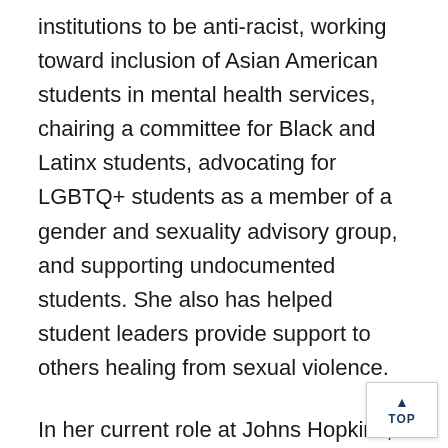institutions to be anti-racist, working toward inclusion of Asian American students in mental health services, chairing a committee for Black and Latinx students, advocating for LGBTQ+ students as a member of a gender and sexuality advisory group, and supporting undocumented students. She also has helped student leaders provide support to others healing from sexual violence.
In her current role at Johns Hopkins, Ruzicka provides leadership and vision for an expansive portfolio including the centers for diversity and inclusion, residential life, student engagement, case management and crisis response, and